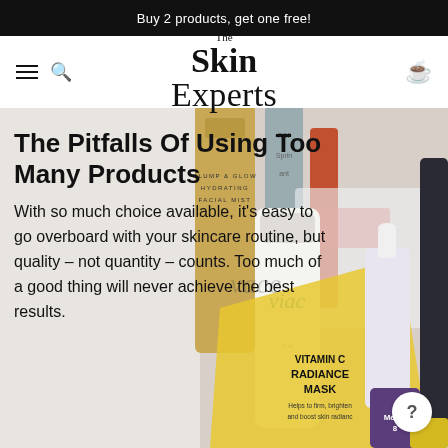Buy 2 products, get one free!
[Figure (logo): The Skin Experts logo in serif font]
The Pitfalls Of Using Too Many Products
With so much choice available, it's easy to go overboard with your skincare routine, but quality – not quantity – counts. Too much of a good thing will never achieve the best results.
[Figure (photo): Assorted skincare products including Plump & Glow Hydrating Facial Mist, Vitamin C Radiance Mask, Medik8 serum dropper bottle, and other products arranged together]